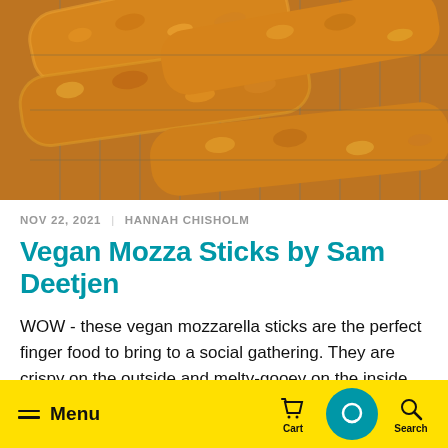[Figure (photo): Close-up photo of golden-brown crispy breaded mozzarella sticks on a wire cooling rack, viewed from above at a slight angle.]
NOV 22, 2021  |  HANNAH CHISHOLM
Vegan Mozza Sticks by Sam Deetjen
WOW - these vegan mozzarella sticks are the perfect finger food to bring to a social gathering. They are crispy on the outside and melty-gooey on the inside. Whether you are vegan or not, thes…
Menu  Cart  Search